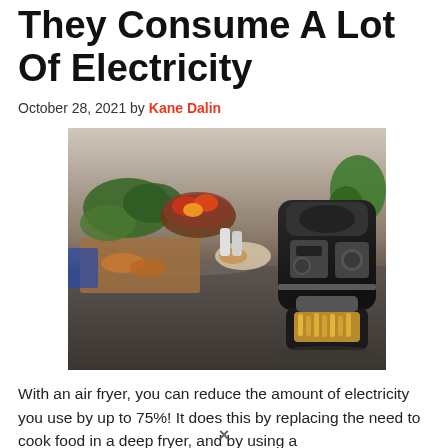They Consume A Lot Of Electricity
October 28, 2021 by Kane Dalin
[Figure (photo): Air fryer on a kitchen counter surrounded by various foods including vegetables, chicken, and french fries]
With an air fryer, you can reduce the amount of electricity you use by up to 75%! It does this by replacing the need to cook food in a deep fryer, and by using a